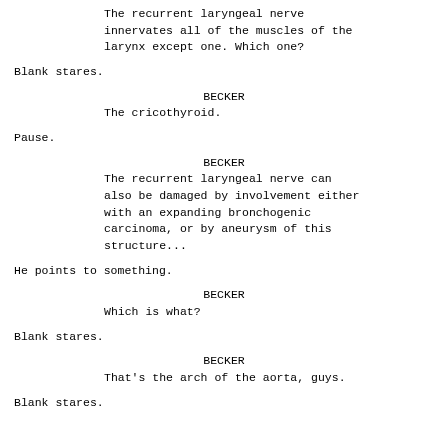The recurrent laryngeal nerve innervates all of the muscles of the larynx except one. Which one?
Blank stares.
BECKER
The cricothyroid.
Pause.
BECKER
The recurrent laryngeal nerve can also be damaged by involvement either with an expanding bronchogenic carcinoma, or by aneurysm of this structure...
He points to something.
BECKER
Which is what?
Blank stares.
BECKER
That's the arch of the aorta, guys.
Blank stares.